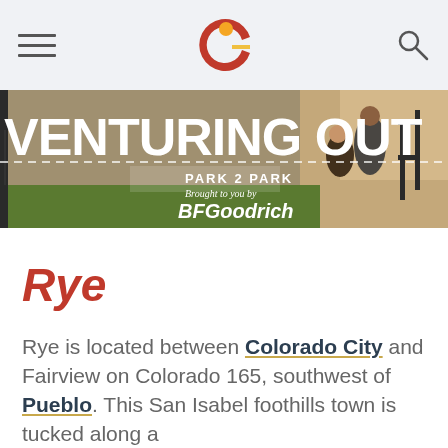Navigation bar with hamburger menu, Colorado logo, and search icon
[Figure (photo): Venturing Out banner image with two people near an off-road vehicle in a rocky desert landscape. Text reads: VENTURING OUT, PARK 2 PARK, Brought to you by BFGoodrich]
Rye
Rye is located between Colorado City and Fairview on Colorado 165, southwest of Pueblo. This San Isabel foothills town is tucked along a